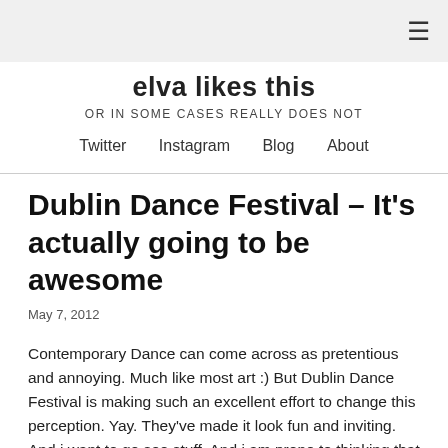≡
elva likes this
OR IN SOME CASES REALLY DOES NOT
Twitter   Instagram   Blog   About
Dublin Dance Festival – It's actually going to be awesome
May 7, 2012
Contemporary Dance can come across as pretentious and annoying. Much like most art :) But Dublin Dance Festival is making such an excellent effort to change this perception. Yay. They've made it look fun and inviting. And i want to go see stuff. And i am prone to thinking that